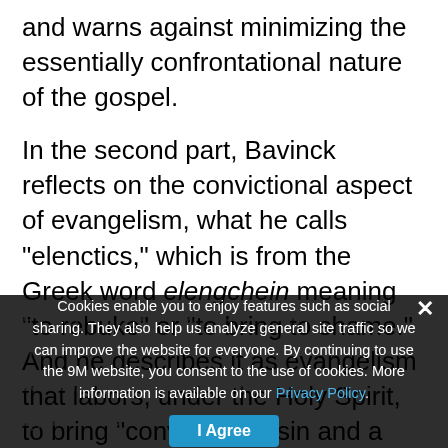and warns against minimizing the essentially confrontational nature of the gospel.
In the second part, Bavinck reflects on the convictional aspect of evangelism, what he calls "elenctics," which is from the Greek word elengchein meaning "to rebuke" or "to bring to shame."  And he describes it as evangelism that labors, under the Holy Spirit, to bring "conviction of sin and a call to repentance." (222) Any who work among Muslims or among Hindus should find his consideration of bringing awareness of sin immensely useful, given that Muslims essentially view sin as ignorance while Hindus... Bavinck... humanity tries to hide their sense of guilt (via Romans 1) in false religious worship, and how we can lovingly expose it... Scripture.
Cookies enable you to enjoy features such as social sharing. They also help us analyze general site traffic so we can improve the website for everyone. By continuing to use the 9M website, you consent to the use of cookies. More information is available on our Privacy Policy.